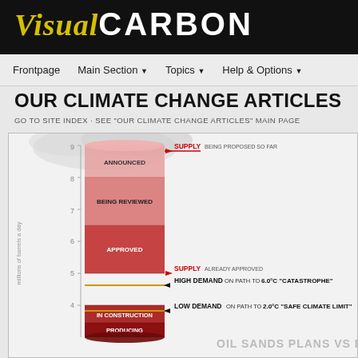Visual CARBON
Frontpage | Main Section | Topics | Help & Options
OUR CLIMATE CHANGE ARTICLES
GO TO SITE INDEX · SEE "OUR CLIMATE CHANGE ARTICLES" MAIN PAGE
[Figure (infographic): Bar chart showing oil sands supply levels vs demand. A cylindrical red bar divided into sections labeled from bottom to top: PRODUCING, IN CONSTRUCTION, APPROVED, BEING REVIEWED, ANNOUNCED. Y-axis shows values from approximately 3 to 9 in millions of barrels a day. Annotations: 'SUPPLY BEING PROPOSED SO FAR' arrow at top (~9), 'SUPPLY ALREADY APPROVED' arrow at ~5. 'HIGH DEMAND ON PATH TO 6.0°C CATASTROPHE' horizontal line at ~4.8. 'LOW DEMAND ON PATH TO 2.0°C SAFE CLIMATE LIMIT' horizontal line at ~3.8. Title: OIL SANDS PLANS VS DEMAND]